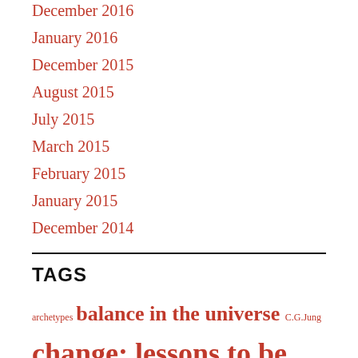December 2016
January 2016
December 2015
August 2015
July 2015
March 2015
February 2015
January 2015
December 2014
TAGS
archetypes balance in the universe C.G.Jung change; lessons to be learned chaos and order Consciousness, Mind courage comes from fear crazy reality dreams' navel ensouled world finding